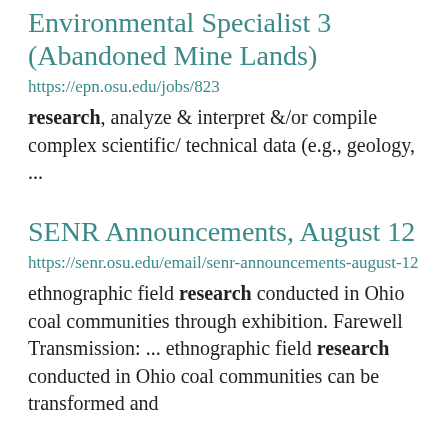Environmental Specialist 3 (Abandoned Mine Lands)
https://epn.osu.edu/jobs/823
research, analyze & interpret &/or compile complex scientific/ technical data (e.g., geology, ...
SENR Announcements, August 12
https://senr.osu.edu/email/senr-announcements-august-12
ethnographic field research conducted in Ohio coal communities through exhibition. Farewell Transmission: ... ethnographic field research conducted in Ohio coal communities can be transformed and